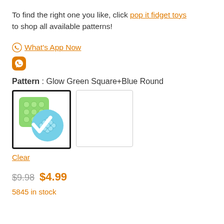To find the right one you like, click pop it fidget toys to shop all available patterns!
What's App Now
[Figure (logo): Orange messenger chat icon (rounded square with lightning bolt)]
Pattern : Glow Green Square+Blue Round
[Figure (photo): Selected product thumbnail: green square pop it with blue round pop it, white checkmark overlay. Second empty thumbnail box.]
Clear
$9.98 $4.99
5845 in stock